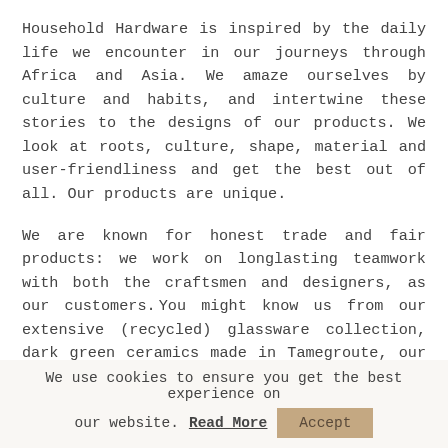Household Hardware is inspired by the daily life we encounter in our journeys through Africa and Asia. We amaze ourselves by culture and habits, and intertwine these stories to the designs of our products. We look at roots, culture, shape, material and user-friendliness and get the best out of all. Our products are unique.
We are known for honest trade and fair products: we work on longlasting teamwork with both the craftsmen and designers, as our customers. You might know us from our extensive (recycled) glassware collection, dark green ceramics made in Tamegroute, our comfy and high-quality benches and daybeds, and our multiple collections of handmade ceramics.
We use cookies to ensure you get the best experience on our website. Read More Accept